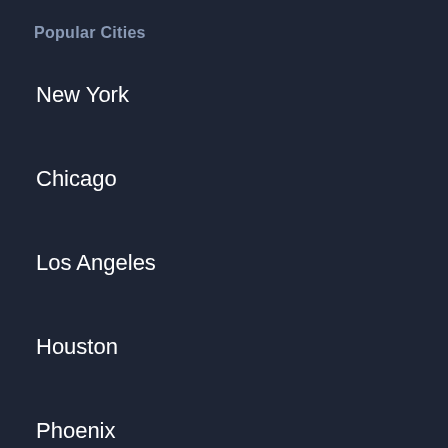Popular Cities
New York
Chicago
Los Angeles
Houston
Phoenix
Philadelphia
San Antonio
San Diego
[Figure (other): Walgreens Photo advertisement: 'Delivered in as Little as 1 Hr' with Walgreens logo, cyan subtitle text, and blue diamond arrow icon]